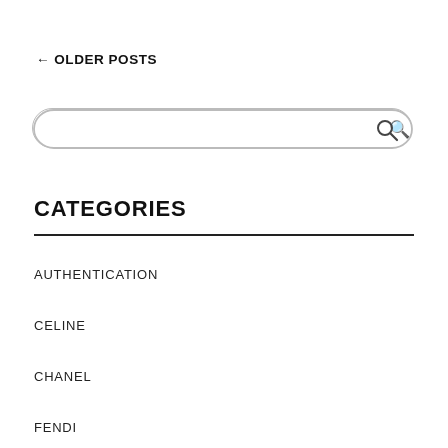← OLDER POSTS
[Figure (other): Search bar with rounded rectangle border and magnifying glass icon on the right]
CATEGORIES
AUTHENTICATION
CELINE
CHANEL
FENDI